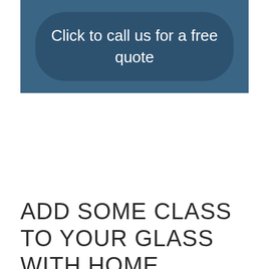[Figure (other): Blue call-to-action button with rounded corners on a steel-blue background panel, containing the text 'Click to call us for a free quote']
ADD SOME CLASS TO YOUR GLASS WITH HOME WINDOW TINTING NORTH ROCKS!